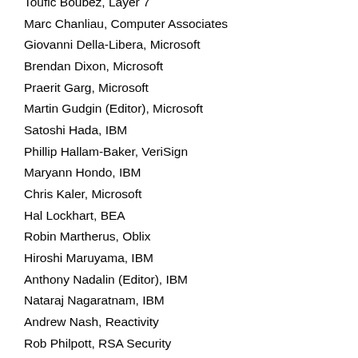Toufic Boubez, Layer 7
Marc Chanliau, Computer Associates
Giovanni Della-Libera, Microsoft
Brendan Dixon, Microsoft
Praerit Garg, Microsoft
Martin Gudgin (Editor), Microsoft
Satoshi Hada, IBM
Phillip Hallam-Baker, VeriSign
Maryann Hondo, IBM
Chris Kaler, Microsoft
Hal Lockhart, BEA
Robin Martherus, Oblix
Hiroshi Maruyama, IBM
Anthony Nadalin (Editor), IBM
Nataraj Nagaratnam, IBM
Andrew Nash, Reactivity
Rob Philpott, RSA Security
Darren Platt, Ping Identity
Hemma Prafullchandra, VeriSign
Maneesh Sahu, Actional
John Shewchuk, Microsoft
Dan Simon, Microsoft
Davanum Srinivas, Computer Associates
Elliot Waingold, Microsoft
David Waite, Ping Identity
Doug Walter, Microsoft